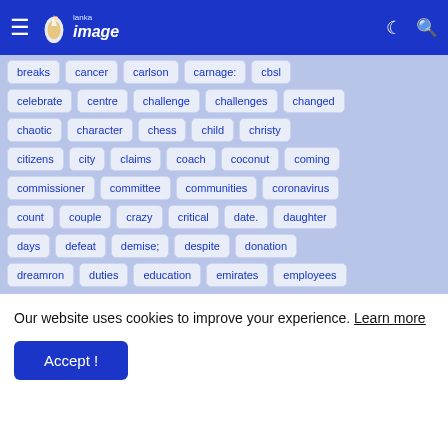Lanka Image
breaks
cancer
carlson
carnage:
cbsl
celebrate
centre
challenge
challenges
changed
chaotic
character
chess
child
christy
citizens
city
claims
coach
coconut
coming
commissioner
committee
communities
coronavirus
count
couple
crazy
critical
date.
daughter
days
defeat
demise;
despite
donation
dreamron
duties
education
emirates
employees
Our website uses cookies to improve your experience. Learn more
Accept !